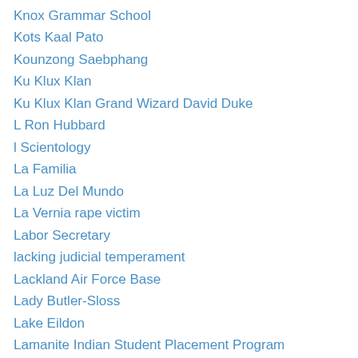Knox Grammar School
Kots Kaal Pato
Kounzong Saebphang
Ku Klux Klan
Ku Klux Klan Grand Wizard David Duke
L Ron Hubbard
l Scientology
La Familia
La Luz Del Mundo
La Vernia rape victim
Labor Secretary
lacking judicial temperament
Lackland Air Force Base
Lady Butler-Sloss
Lake Eildon
Lamanite Indian Student Placement Program
Lambeth Council
Lanark orphanage.
laptop
Larry Nassar